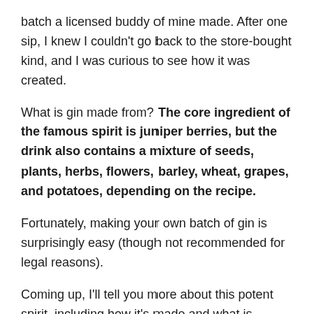batch a licensed buddy of mine made. After one sip, I knew I couldn't go back to the store-bought kind, and I was curious to see how it was created.
What is gin made from? The core ingredient of the famous spirit is juniper berries, but the drink also contains a mixture of seeds, plants, herbs, flowers, barley, wheat, grapes, and potatoes, depending on the recipe.
Fortunately, making your own batch of gin is surprisingly easy (though not recommended for legal reasons).
Coming up, I'll tell you more about this potent spirit, including how it's made and what is needed to do it.